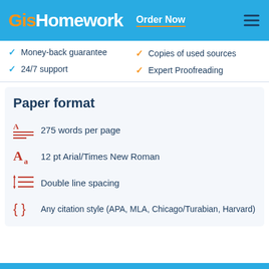GisHomework — Order Now
Money-back guarantee
24/7 support
Copies of used sources
Expert Proofreading
Paper format
275 words per page
12 pt Arial/Times New Roman
Double line spacing
Any citation style (APA, MLA, Chicago/Turabian, Harvard)